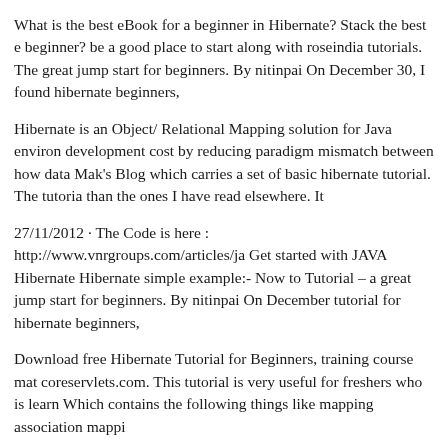What is the best eBook for a beginner in Hibernate? Stack the best e beginner? be a good place to start along with roseindia tutorials. The great jump start for beginners. By nitinpai On December 30, I found hibernate beginners,
Hibernate is an Object/ Relational Mapping solution for Java environ development cost by reducing paradigm mismatch between how data Mak's Blog which carries a set of basic hibernate tutorial. The tutoria than the ones I have read elsewhere. It
27/11/2012 · The Code is here : http://www.vnrgroups.com/articles/ja Get started with JAVA Hibernate Hibernate simple example:- Now to Tutorial – a great jump start for beginners. By nitinpai On December tutorial for hibernate beginners,
Download free Hibernate Tutorial for Beginners, training course mat coreservlets.com. This tutorial is very useful for freshers who is learn Which contains the following things like mapping association mappi
Download free Hibernate Tutorial for Beginners, training